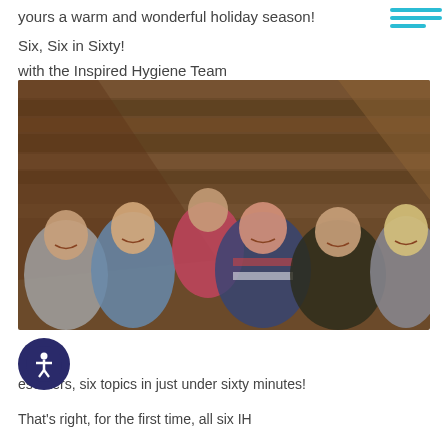yours a warm and wonderful holiday season!
Six, Six in Sixty!
with the Inspired Hygiene Team
[Figure (photo): Group photo of six women smiling together in front of a rustic wooden wall background, posing together as the Inspired Hygiene Team]
esenters, six topics in just under sixty minutes! That's right, for the first time, all six IH